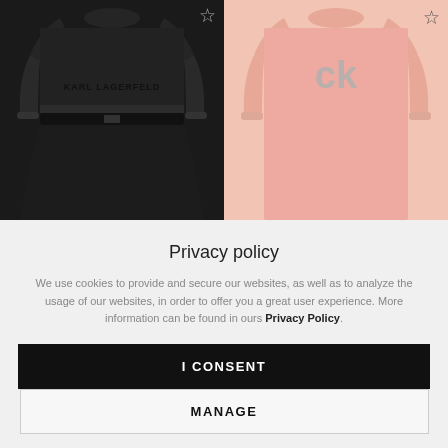[Figure (photo): Black Karl Lagerfeld branded dress on white/dark background, left product]
[Figure (photo): Pink Calvin Klein CK monogram sweatshirt dress, right product]
Privacy policy
We use cookies to provide and secure our websites, as well as to analyze the usage of our websites, in order to offer you a great user experience. More information can be found in ours Privacy Policy.
I CONSENT
MANAGE